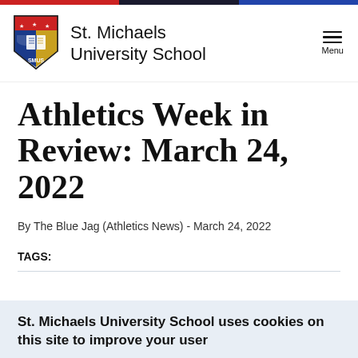[Figure (logo): St. Michaels University School shield logo with SMUS text, stars, open book, and chevron design in red, blue, gold, and black]
St. Michaels University School  Menu
Athletics Week in Review: March 24, 2022
By The Blue Jag (Athletics News) - March 24, 2022
TAGS:
St. Michaels University School uses cookies on this site to improve your user